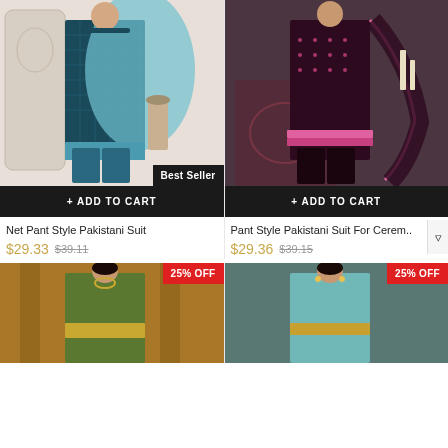[Figure (photo): Teal/blue Pakistani suit worn by model with 'Best Seller' badge]
[Figure (photo): Maroon/dark purple Pakistani suit worn by model]
+ ADD TO CART
+ ADD TO CART
Net Pant Style Pakistani Suit
Pant Style Pakistani Suit For Cerem..
$29.33  $39.11
$29.36  $39.15
[Figure (photo): Gold/green Pakistani suit worn by model with '25% OFF' badge]
[Figure (photo): Aqua/teal Pakistani suit worn by model with '25% OFF' badge]